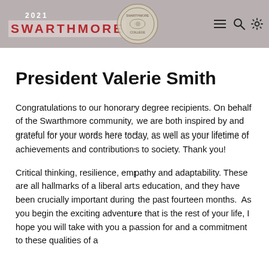[Figure (screenshot): Swarthmore 2021 website header with red Swarthmore logo text, seal/crest image, hamburger menu icon, search icon, and settings icon on a gray background]
President Valerie Smith
Congratulations to our honorary degree recipients. On behalf of the Swarthmore community, we are both inspired by and grateful for your words here today, as well as your lifetime of achievements and contributions to society. Thank you!
Critical thinking, resilience, empathy and adaptability. These are all hallmarks of a liberal arts education, and they have been crucially important during the past fourteen months.  As you begin the exciting adventure that is the rest of your life, I hope you will take with you a passion for and a commitment to these qualities of a